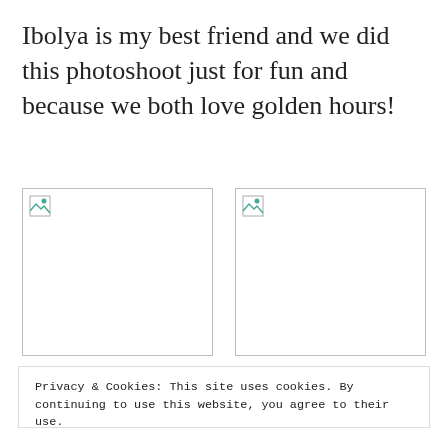Ibolya is my best friend and we did this photoshoot just for fun and because we both love golden hours!
[Figure (photo): Broken image placeholder (left), rectangular frame with broken image icon in top-left corner]
[Figure (photo): Broken image placeholder (right), rectangular frame with broken image icon in top-left corner]
Privacy & Cookies: This site uses cookies. By continuing to use this website, you agree to their use.
To find out more, including how to control cookies, see here: Cookie Policy
Close and accept